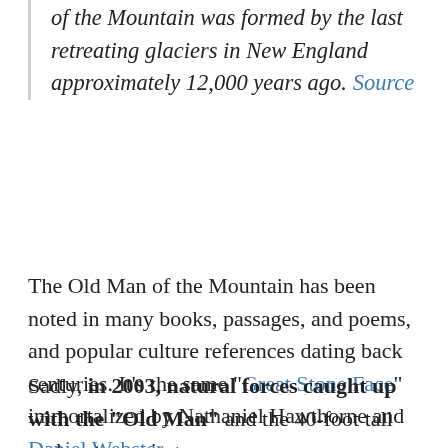of the Mountain was formed by the last retreating glaciers in New England approximately 12,000 years ago. Source
The Old Man of the Mountain has been noted in many books, passages, and poems, and popular culture references dating back centuries. It's the same "Great Stone Face" immortalized by Nathaniel Hawthorne and Daniel Webster.
Sadly, in 2003, natural forces caught up with the "Old Man" and the 40-foot tall rock outcropping...